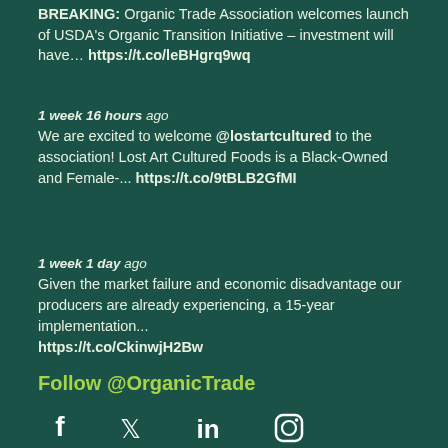BREAKING: Organic Trade Association welcomes launch of USDA's Organic Transition Initiative – investment will have… https://t.co/leBHgrq9wq
1 week 16 hours ago
We are excited to welcome @lostartcultured to the association! Lost Art Cultured Foods is a Black-Owned and Female-... https://t.co/9tBLB2GfMI
1 week 1 day ago
Given the market failure and economic disadvantage our producers are already experiencing, a 15-year implementation... https://t.co/CkinwjH2Bw
Follow @OrganicTrade
[Figure (infographic): Social media icons: Facebook, Twitter, LinkedIn, Instagram in white on dark green background]